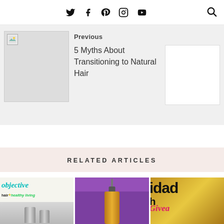Twitter Facebook Pinterest Instagram YouTube [Search]
[Figure (screenshot): Previous post navigation block with thumbnail image and link text: Previous - 5 Myths About Transitioning to Natural Hair]
Previous
5 Myths About Transitioning to Natural Hair
RELATED ARTICLES
[Figure (photo): Article card 1: 'objective hair + healthy living' logo with silver bottles]
[Figure (photo): Article card 2: Oil dropper bottle on purple background]
[Figure (photo): Article card 3: Gold glitter background with text 'idad' and 'h Giveaw' in pink]